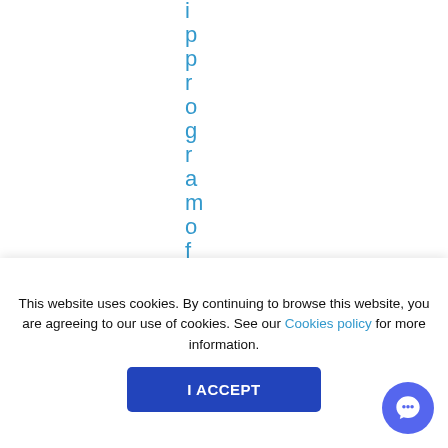i p p r o g r a m o f f
This website uses cookies. By continuing to browse this website, you are agreeing to our use of cookies. See our Cookies policy for more information.
I ACCEPT